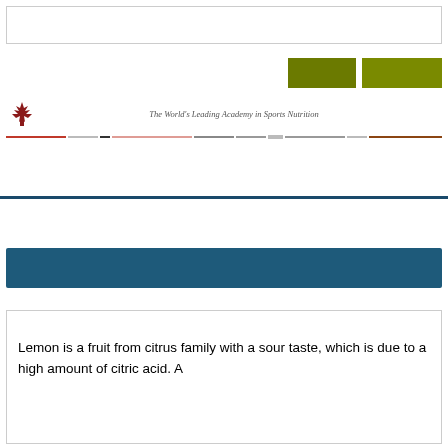[Figure (other): Two green rectangular buttons in the upper right area of the page header]
[Figure (logo): Red maple-leaf style logo icon with tagline 'The World's Leading Academy in Sports Nutrition' and a multi-colored decorative horizontal rule]
[Figure (other): Dark blue/teal horizontal banner bar]
Lemon is a fruit from citrus family with a sour taste, which is due to a high amount of citric acid. A